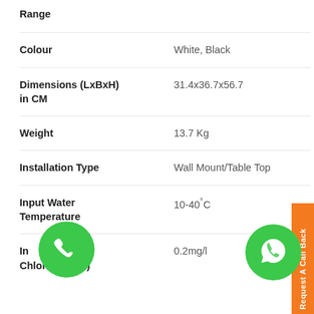| Specification | Value |
| --- | --- |
| Range |  |
| Colour | White, Black |
| Dimensions (LxBxH) in CM | 31.4x36.7x56.7 |
| Weight | 13.7 Kg |
| Installation Type | Wall Mount/Table Top |
| Input Water Temperature | 10-40°C |
| Input Chlorine (Max) | 0.2mg/l |